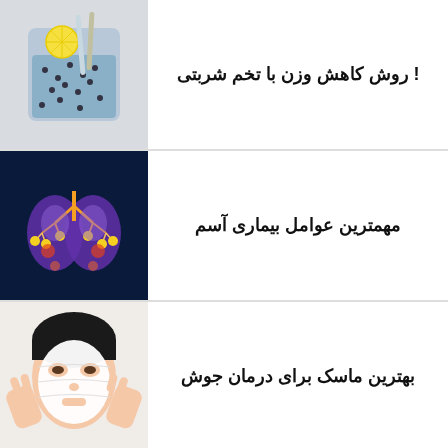روش کاهش وزن با تخم شربتی !
[Figure (photo): Glass of water with chia seeds, lemon slice, and straws]
مهمترین عوامل بیماری آسم
[Figure (photo): Medical illustration of human lungs with bronchial tree highlighted in blue and orange/yellow]
بهترین ماسک برای درمان جوش
[Figure (photo): Woman applying white sheet face mask]